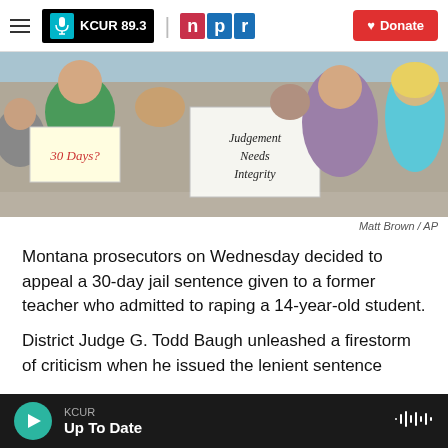KCUR 89.3 | npr | Donate
[Figure (photo): Crowd of protesters holding signs including '30 DAYS?' and 'Judgement Needs Integrity']
Matt Brown / AP
Montana prosecutors on Wednesday decided to appeal a 30-day jail sentence given to a former teacher who admitted to raping a 14-year-old student.
District Judge G. Todd Baugh unleashed a firestorm of criticism when he issued the lenient sentence
KCUR — Up To Date